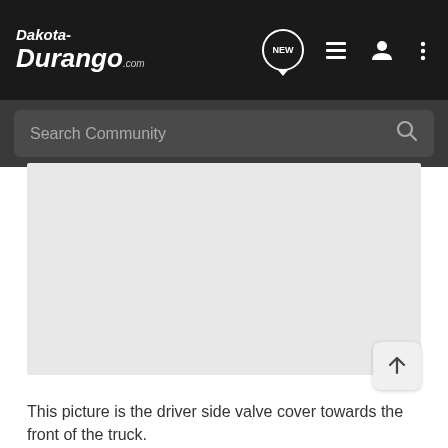Dakota-Durango.com
Search Community
[Figure (photo): Light gray placeholder image area showing a blank/loading image of a driver side valve cover towards the front of a truck]
This picture is the driver side valve cover towards the front of the truck.